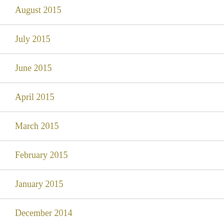August 2015
July 2015
June 2015
April 2015
March 2015
February 2015
January 2015
December 2014
November 2014